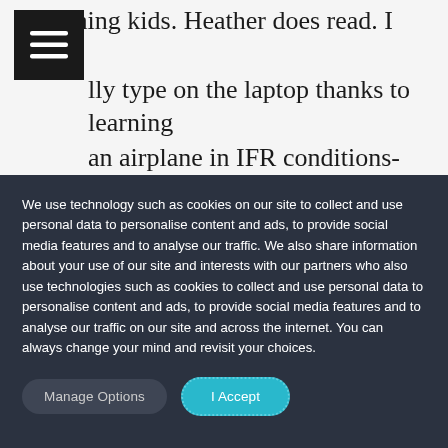screaming kids. Heather does read. I can actually type on the laptop thanks to learning an airplane in IFR conditions-that motion sickness thing kind of goes away. We both drink tons of coffee. We both drive. And we both argue with the kids and each other. The
We use technology such as cookies on our site to collect and use personal data to personalise content and ads, to provide social media features and to analyse our traffic. We also share information about your use of our site and interests with our partners who also use technologies such as cookies to collect and use personal data to personalise content and ads, to provide social media features and to analyse our traffic on our site and across the internet. You can always change your mind and revisit your choices.